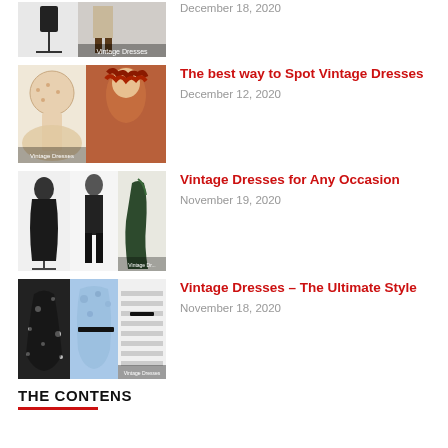[Figure (photo): Partial article row at top: two dress thumbnails, black dress on mannequin and person in boots]
December 18, 2020
The best way to Spot Vintage Dresses
December 12, 2020
[Figure (photo): Two vintage dress images: floral dress and person with red wavy hair in vintage clothing style]
Vintage Dresses for Any Occasion
November 19, 2020
[Figure (photo): Three dark vintage dress images on mannequins/models]
Vintage Dresses – The Ultimate Style
November 18, 2020
[Figure (photo): Three vintage dress images: black polka dot halter dress, blue floral dress, striped dress]
THE CONTENS